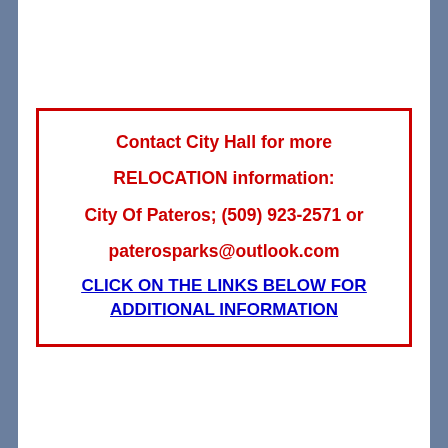Contact City Hall for more RELOCATION information: City Of Pateros; (509) 923-2571 or paterosparks@outlook.com CLICK ON THE LINKS BELOW FOR ADDITIONAL INFORMATION